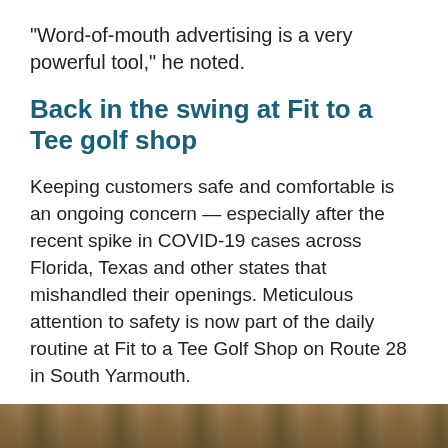“Word-of-mouth advertising is a very powerful tool,” he noted.
Back in the swing at Fit to a Tee golf shop
Keeping customers safe and comfortable is an ongoing concern — especially after the recent spike in COVID-19 cases across Florida, Texas and other states that mishandled their openings. Meticulous attention to safety is now part of the daily routine at Fit to a Tee Golf Shop on Route 28 in South Yarmouth.
[Figure (photo): Bottom strip showing a partial photograph, likely of the golf shop or outdoor scene, visible at the very bottom of the page.]